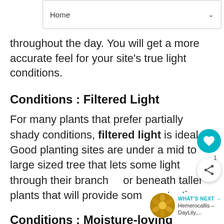Home
throughout the day. You will get a more accurate feel for your site's true light conditions.
Conditions : Filtered Light
For many plants that prefer partially shady conditions, filtered light is ideal. Good planting sites are under a mid to large sized tree that lets some light through their branches or beneath taller plants that will provide some protection.
Conditions : Moisture-loving Houseplants